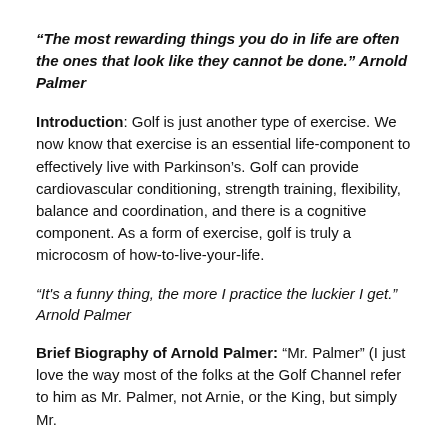“The most rewarding things you do in life are often the ones that look like they cannot be done.” Arnold Palmer
Introduction: Golf is just another type of exercise. We now know that exercise is an essential life-component to effectively live with Parkinson’s. Golf can provide cardiovascular conditioning, strength training, flexibility, balance and coordination, and there is a cognitive component. As a form of exercise, golf is truly a microcosm of how-to-live-your-life.
“It’s a funny thing, the more I practice the luckier I get.” Arnold Palmer
Brief Biography of Arnold Palmer: “Mr. Palmer” (I just love the way most of the folks at the Golf Channel refer to him as Mr. Palmer, not Arnie, or the King, but simply Mr. Palmer)